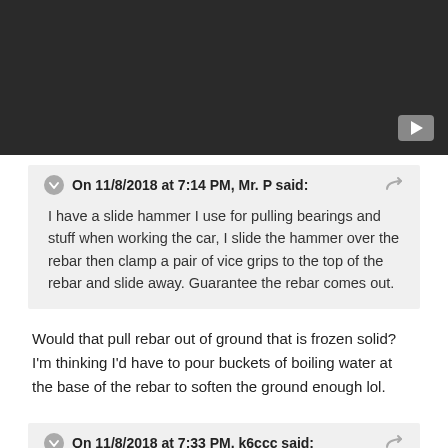[Figure (screenshot): Dark video player area with YouTube play button in bottom right corner]
On 11/8/2018 at 7:14 PM, Mr. P said:
I have a slide hammer I use for pulling bearings and stuff when working the car, I slide the hammer over the rebar then clamp a pair of vice grips to the top of the rebar and slide away. Guarantee the rebar comes out.
Would that pull rebar out of ground that is frozen solid?  I'm thinking I'd have to pour buckets of boiling water at the base of the rebar to soften the ground enough lol.
On 11/8/2018 at 7:33 PM, k6ccc said:
---==>  IMPORTANT  <==---